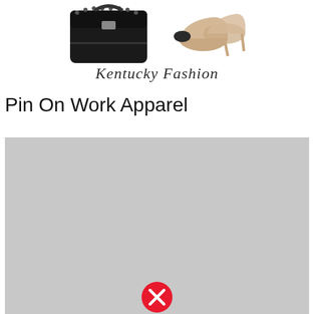[Figure (photo): Fashion lifestyle image showing a black studded handbag and beige high heel shoes, with 'Kentucky Fashion' written in cursive script below the items]
Pin On Work Apparel
[Figure (photo): Large gray placeholder image with a red circle X error icon at the bottom center, indicating a broken or unloaded image]